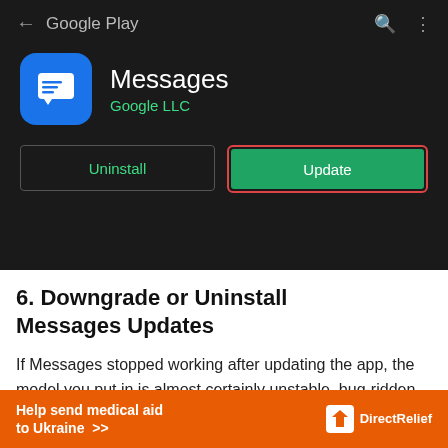[Figure (screenshot): Google Play Store screenshot showing the Messages app by Google LLC with Uninstall and Update buttons, dark theme. The Update button is highlighted with a red/orange border.]
6. Downgrade or Uninstall Messages Updates
If Messages stopped working after updating the app, the model you put in is almost certainly unstable, bug-ridden, or incompatible along
[Figure (screenshot): Ad banner: Help send medical aid to Ukraine >> DirectRelief logo]